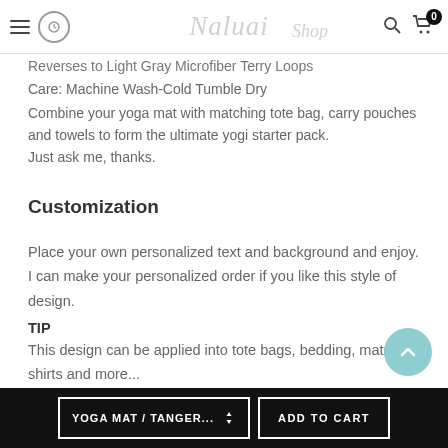Navigation bar with hamburger menu, logo (Naluai Shop watermark), search icon, and cart with badge 0
Reverses to Light Gray Microfiber Terry Loops
Care: Machine Wash-Cold Tumble Dry
Combine your yoga mat with matching tote bag, carry pouches and towels to form the ultimate yogi starter pack.
Just ask me, thanks.
Customization
Place your own personalized text and background and enjoy. I can make your personalized order if you like this style of design.
TIP
This design can be applied into tote bags, bedding, mats, t-shirts and more...
Please note before confirming the purchase
Please note before confirming the purchase, you make
YOGA MAT / TANGER... | ADD TO CART